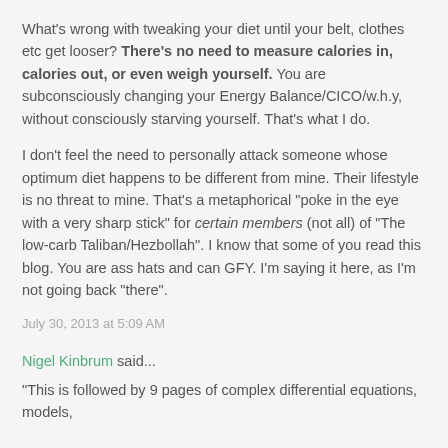What's wrong with tweaking your diet until your belt, clothes etc get looser? There's no need to measure calories in, calories out, or even weigh yourself. You are subconsciously changing your Energy Balance/CICO/w.h.y, without consciously starving yourself. That's what I do.
I don't feel the need to personally attack someone whose optimum diet happens to be different from mine. Their lifestyle is no threat to mine. That's a metaphorical "poke in the eye with a very sharp stick" for certain members (not all) of "The low-carb Taliban/Hezbollah". I know that some of you read this blog. You are ass hats and can GFY. I'm saying it here, as I'm not going back "there".
July 30, 2013 at 5:09 AM
Nigel Kinbrum said...
"This is followed by 9 pages of complex differential equations, models,